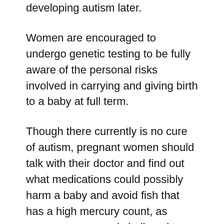developing autism later.
Women are encouraged to undergo genetic testing to be fully aware of the personal risks involved in carrying and giving birth to a baby at full term.
Though there currently is no cure of autism, pregnant women should talk with their doctor and find out what medications could possibly harm a baby and avoid fish that has a high mercury count, as mercury exposure is believed to play a part in the development of autism symptoms. If caught early enough, children can receive the proper course of treatment and manage the disorder, possibly even growing out of it over time.